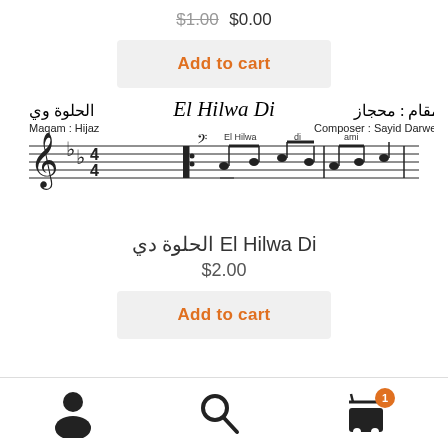$1.00  $0.00
Add to cart
[Figure (illustration): Sheet music excerpt for 'El Hilwa Di' with Arabic title, Maqam: Hijaz, Composer: Sayid Darweesh, showing musical notation with treble clef, key signature, and notes with lyrics El Hilwa di ami]
الحلوة دي El Hilwa Di
$2.00
Add to cart
[Figure (illustration): Bottom navigation bar with user icon, search icon, and shopping cart icon with badge showing 1]